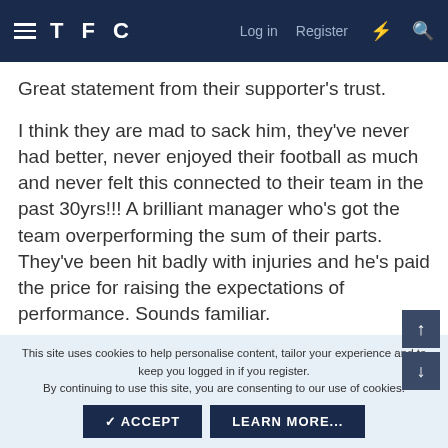TFC  Log in  Register
Great statement from their supporter’s trust.
I think they are mad to sack him, they've never had better, never enjoyed their football as much and never felt this connected to their team in the past 30yrs!!! A brilliant manager who’s got the team overperforming the sum of their parts. They’ve been hit badly with injuries and he’s paid the price for raising the expectations of performance. Sounds familiar.
This site uses cookies to help personalise content, tailor your experience and to keep you logged in if you register.
By continuing to use this site, you are consenting to our use of cookies.
✓ ACCEPT  LEARN MORE...